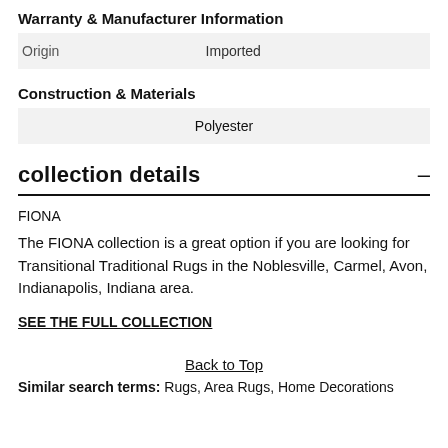Warranty & Manufacturer Information
|  |  |
| --- | --- |
| Origin | Imported |
Construction & Materials
|  |
| --- |
| Polyester |
collection details
FIONA
The FIONA collection is a great option if you are looking for Transitional Traditional Rugs in the Noblesville, Carmel, Avon, Indianapolis, Indiana area.
SEE THE FULL COLLECTION
Back to Top
Similar search terms: Rugs, Area Rugs, Home Decorations